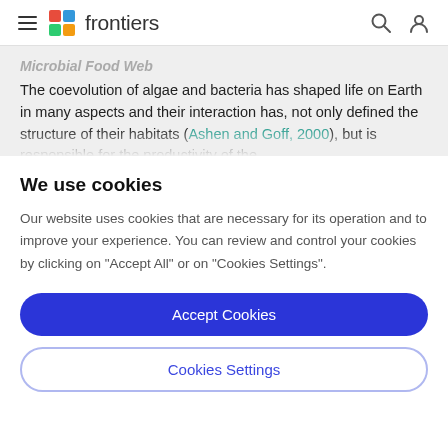frontiers
Microbial Food Web

The coevolution of algae and bacteria has shaped life on Earth in many aspects and their interaction has, not only defined the structure of their habitats (Ashen and Goff, 2000), but is responsible for the productivity of the
We use cookies
Our website uses cookies that are necessary for its operation and to improve your experience. You can review and control your cookies by clicking on "Accept All" or on "Cookies Settings".
Accept Cookies
Cookies Settings